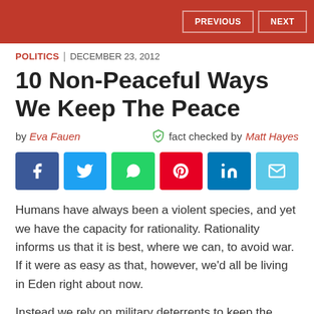PREVIOUS | NEXT
POLITICS | DECEMBER 23, 2012
10 Non-Peaceful Ways We Keep The Peace
by Eva Fauen   fact checked by Matt Hayes
[Figure (infographic): Social share buttons: Facebook, Twitter, WhatsApp, Pinterest, LinkedIn, Email]
Humans have always been a violent species, and yet we have the capacity for rationality. Rationality informs us that it is best, where we can, to avoid war. If it were as easy as that, however, we'd all be living in Eden right about now.
Instead we rely on military deterrents to keep the peace – working on the premise that other nations will withhold